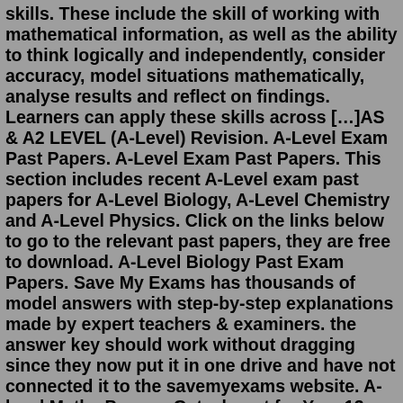skills. These include the skill of working with mathematical information, as well as the ability to think logically and independently, consider accuracy, model situations mathematically, analyse results and reflect on findings. Learners can apply these skills across […]AS & A2 LEVEL (A-Level) Revision. A-Level Exam Past Papers. A-Level Exam Past Papers. This section includes recent A-Level exam past papers for A-Level Biology, A-Level Chemistry and A-Level Physics. Click on the links below to go to the relevant past papers, they are free to download. A-Level Biology Past Exam Papers. Save My Exams has thousands of model answers with step-by-step explanations made by expert teachers & examiners. the answer key should work without dragging since they now put it in one drive and have not connected it to the savemyexams website. A-level Maths Papers. Get a boost for Year 13 with our 3-day online summer A-level Refresher courses. Book our 3-day pure (27-29th August) and 1-day for Statistics (22nd August) and Mechanics (26th August) courses. Suitable for all